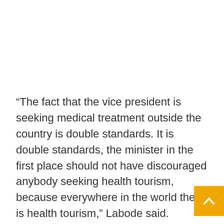“The fact that the vice president is seeking medical treatment outside the country is double standards. It is double standards, the minister in the first place should not have discouraged anybody seeking health tourism, because everywhere in the world there is health tourism,” Labode said.
“The British people go to Thailand for certain treatments, they go to India. You find that in A people are going to all sorts of places, people n to South Africa some to Zambia or Ethiopia for